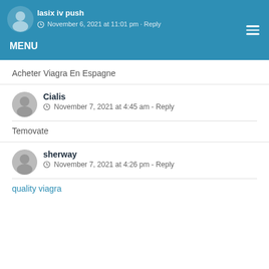lasix iv push · November 6, 2021 at 11:01 pm - Reply · MENU
Acheter Viagra En Espagne
Cialis
November 7, 2021 at 4:45 am - Reply
Temovate
sherway
November 7, 2021 at 4:26 pm - Reply
quality viagra